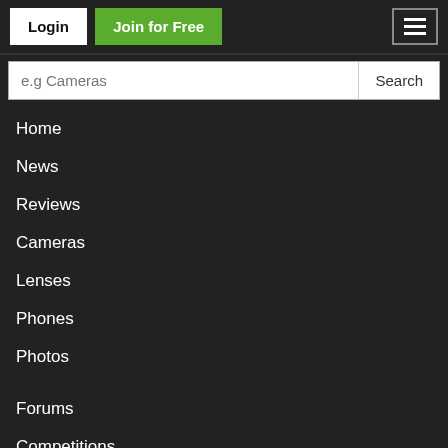Login | Join for Free
e.g Cameras
Home
News
Reviews
Cameras
Lenses
Phones
Photos
Forums
Competitions
Community
The Team